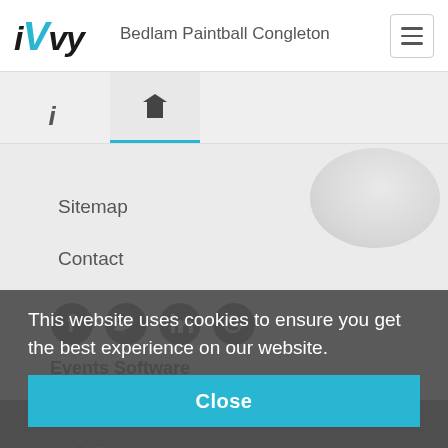iVvy — Bedlam Paintball Congleton
Sitemap
Contact
[Figure (infographic): Social media icons: Facebook, Twitter, LinkedIn, Google]
Events Software
Home
Highlights
Event Registrations
Event Management
Marketing Tools
Security
This website uses cookies to ensure you get the best experience on our website.
Close